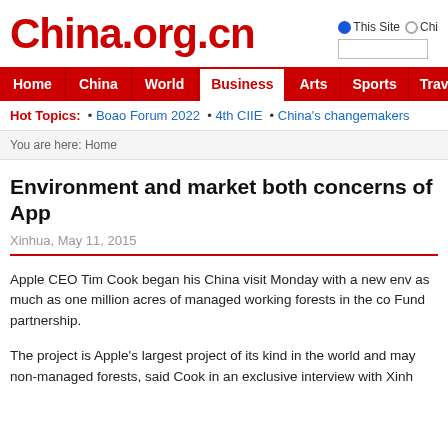China.org.cn
Home | China | World | Business | Arts | Sports | Travel | Opinion
Hot Topics: • Boao Forum 2022 • 4th CIIE • China's changemakers
You are here: Home
Environment and market both concerns of App
Xinhua, May 11, 2015
Apple CEO Tim Cook began his China visit Monday with a new env as much as one million acres of managed working forests in the co Fund partnership.
The project is Apple's largest project of its kind in the world and may non-managed forests, said Cook in an exclusive interview with Xinh